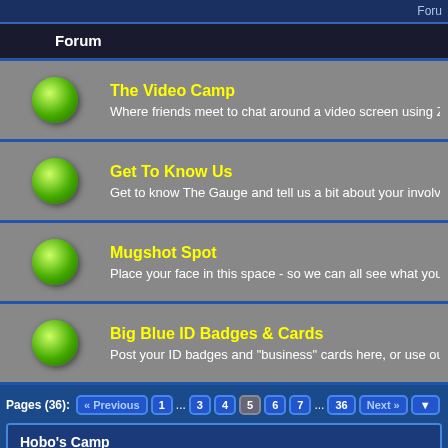Foru
Forum
The Video Camp — Where friends meet to chat around a video screen using Zoom, Sky
Get To Know Us — Get to know The Gauge and tell us a bit about your involvement wit
Mugshot Spot — Place your face in this space - so we can all see what your "name" l
Big Blue ID Badges & Cards — Post your ID badges and "business" cards here, or use our templat
Pages (36): « Previous  1  ...  3  4  5  6  7  ...  36  Next »
Hobo's Camp
| Thread / Author |
| --- |